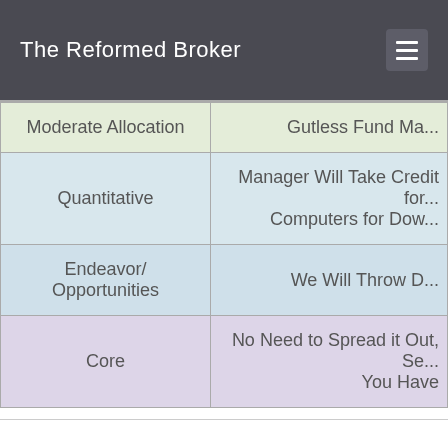The Reformed Broker
| Category | Description |
| --- | --- |
| Moderate Allocation | Gutless Fund Ma... |
| Quantitative | Manager Will Take Credit for... Computers for Dow... |
| Endeavor/ Opportunities | We Will Throw D... |
| Core | No Need to Spread it Out, Se... You Have |